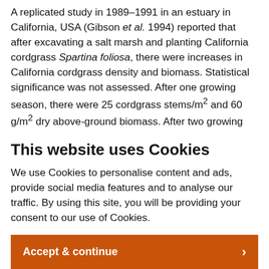A replicated study in 1989–1991 in an estuary in California, USA (Gibson et al. 1994) reported that after excavating a salt marsh and planting California cordgrass Spartina foliosa, there were increases in California cordgrass density and biomass. Statistical significance was not assessed. After one growing season, there were 25 cordgrass stems/m² and 60 g/m² dry above-ground biomass. After two growing seasons, there were 50 cordgrass stems/m² and 220 g/m² dry above-ground biomass. Methods: Between
This website uses Cookies
We use Cookies to personalise content and ads, provide social media features and to analyse our traffic. By using this site, you will be providing your consent to our use of Cookies.
Accept & continue